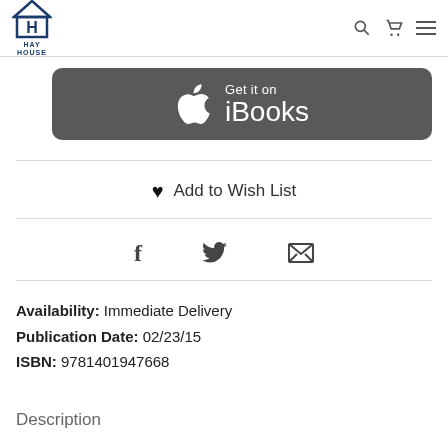Hay House
[Figure (screenshot): Get it on iBooks button — dark grey rounded rectangle with Apple logo and text 'Get it on iBooks' in white]
♥ Add to Wish List
[Figure (other): Social sharing icons: Facebook (f), Twitter (bird), Email (envelope)]
Availability: Immediate Delivery
Publication Date: 02/23/15
ISBN: 9781401947668
Description